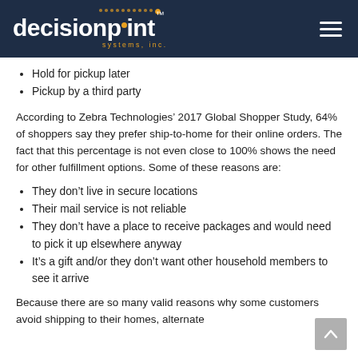decisionpoint systems, inc.
Hold for pickup later
Pickup by a third party
According to Zebra Technologies’ 2017 Global Shopper Study, 64% of shoppers say they prefer ship-to-home for their online orders. The fact that this percentage is not even close to 100% shows the need for other fulfillment options. Some of these reasons are:
They don’t live in secure locations
Their mail service is not reliable
They don’t have a place to receive packages and would need to pick it up elsewhere anyway
It’s a gift and/or they don’t want other household members to see it arrive
Because there are so many valid reasons why some customers avoid shipping to their homes, alternate